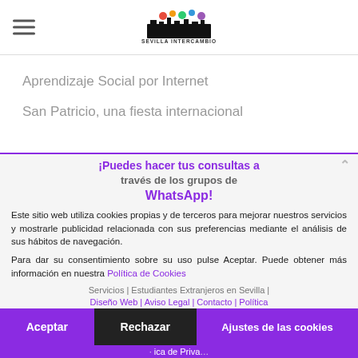Sevilla Intercambio logo and hamburger menu
Aprendizaje Social por Internet
San Patricio, una fiesta internacional
[Figure (infographic): Social media icons bar (Facebook, Instagram, YouTube, Twitter, LinkedIn, Facebook) on black background]
¡Puedes hacer tus consultas a través de los grupos de WhatsApp!
Este sitio web utiliza cookies propias y de terceros para mejorar nuestros servicios y mostrarle publicidad relacionada con sus preferencias mediante el análisis de sus hábitos de navegación.
Para dar su consentimiento sobre su uso pulse Aceptar. Puede obtener más información en nuestra Política de Cookies
Servicios | Estudiantes Extranjeros en Sevilla | Diseño Web | Aviso Legal | Contacto | Política de Privacidad
Aceptar | Rechazar | Ajustes de las cookies